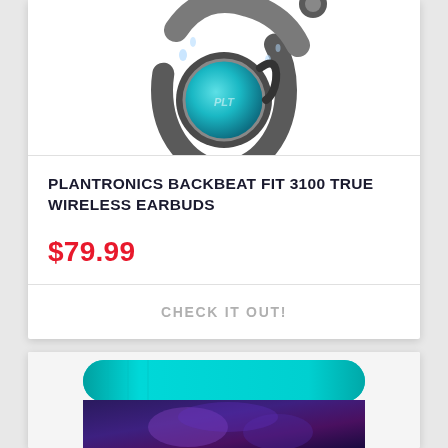[Figure (photo): Plantronics BackBeat FIT 3100 True Wireless Earbuds product photo showing gray earbuds with teal/blue accent, water droplets visible]
PLANTRONICS BACKBEAT FIT 3100 TRUE WIRELESS EARBUDS
$79.99
CHECK IT OUT!
[Figure (photo): Yoga mat partially visible at bottom of page, teal/turquoise color with purple galaxy pattern]